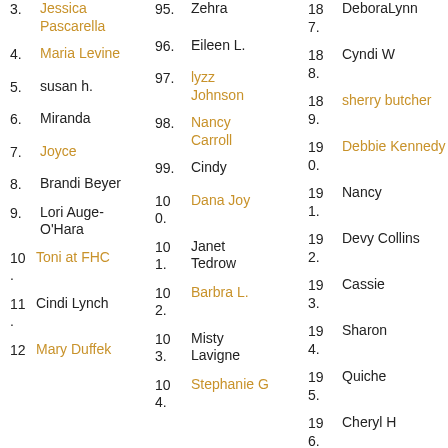3. Jessica Pascarella
4. Maria Levine
5. susan h.
6. Miranda
7. Joyce
8. Brandi Beyer
9. Lori Auge-O'Hara
10. Toni at FHC
11. Cindi Lynch
12. Mary Duffek
95. Zehra
96. Eileen L.
97. lyzz Johnson
98. Nancy Carroll
99. Cindy
100. Dana Joy
101. Janet Tedrow
102. Barbra L.
103. Misty Lavigne
104. Stephanie G
187. DeboraLynn
188. Cyndi W
189. sherry butcher
190. Debbie Kennedy
191. Nancy
192. Devy Collins
193. Cassie
194. Sharon
195. Quiche
196. Cheryl H